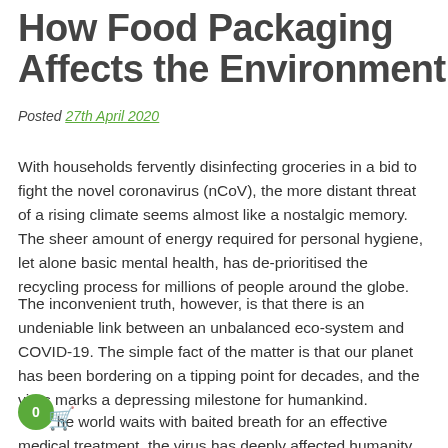How Food Packaging Affects the Environment
Posted 27th April 2020
With households fervently disinfecting groceries in a bid to fight the novel coronavirus (nCoV), the more distant threat of a rising climate seems almost like a nostalgic memory. The sheer amount of energy required for personal hygiene, let alone basic mental health, has de-prioritised the recycling process for millions of people around the globe.
The inconvenient truth, however, is that there is an undeniable link between an unbalanced eco-system and COVID-19. The simple fact of the matter is that our planet has been bordering on a tipping point for decades, and the virus marks a depressing milestone for humankind.
he world waits with baited breath for an effective medical treatment, the virus has deeply affected humanity on a psychological level. A general sense of powerlessness